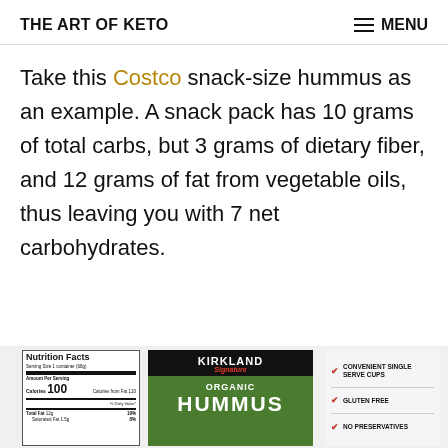THE ART OF KETO   ≡ MENU
Take this Costco snack-size hummus as an example. A snack pack has 10 grams of total carbs, but 3 grams of dietary fiber, and 12 grams of fat from vegetable oils, thus leaving you with 7 net carbohydrates.
[Figure (photo): Kirkland Signature Organic Hummus snack pack showing a Nutrition Facts label on the left, the Kirkland Signature Organic Hummus green-and-black branded label in the center, and feature claims (Convenient Single Serve Cups, Gluten Free, No Preservatives) on the right.]